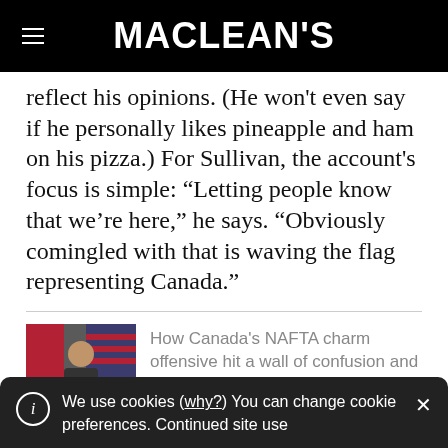MACLEAN'S
reflect his opinions. (He won't even say if he personally likes pineapple and ham on his pizza.) For Sullivan, the account's focus is simple: “Letting people know that we’re here,” he says. “Obviously comingled with that is waving the flag representing Canada.”
How Canada's NAFTA charm offensive hit a wall of confusion and apathy
We use cookies (why?) You can change cookie preferences. Continued site use